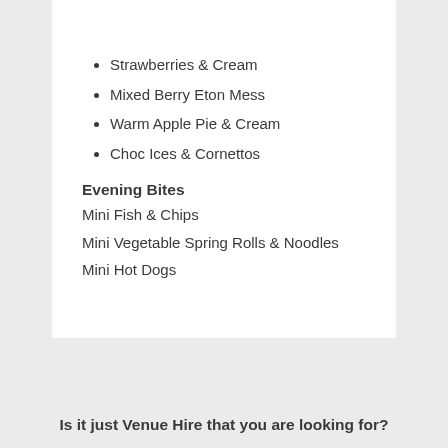Strawberries & Cream
Mixed Berry Eton Mess
Warm Apple Pie & Cream
Choc Ices & Cornettos
Evening Bites
Mini Fish & Chips
Mini Vegetable Spring Rolls & Noodles
Mini Hot Dogs
Is it just Venue Hire that you are looking for?